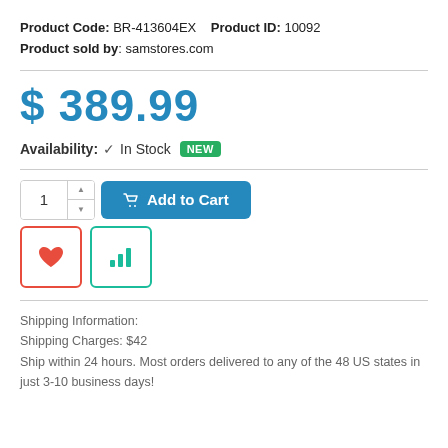Product Code: BR-413604EX   Product ID: 10092
Product sold by: samstores.com
$ 389.99
Availability: ✔ In Stock  NEW
[Figure (other): Add to Cart button with quantity selector, heart (wishlist) button and bar chart (compare) button]
Shipping Information:
Shipping Charges: $42
Ship within 24 hours. Most orders delivered to any of the 48 US states in just 3-10 business days!